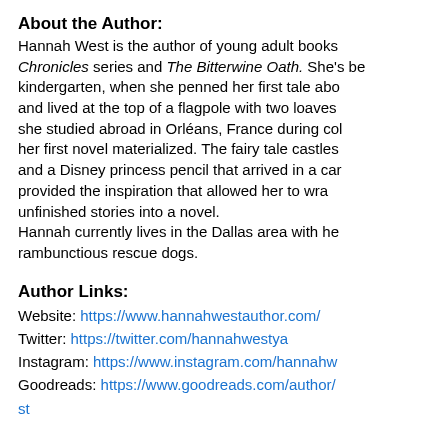About the Author:
Hannah West is the author of young adult books including the Fright Watch Chronicles series and The Bitterwine Oath. She's been writing since kindergarten, when she penned her first tale about a bird who ate too much and lived at the top of a flagpole with two loaves of bread. The idea for she studied abroad in Orléans, France during college, and that's where her first novel materialized. The fairy tale castles she visited that summer and a Disney princess pencil that arrived in a care package from home provided the inspiration that allowed her to wrap up several of her unfinished stories into a novel.
Hannah currently lives in the Dallas area with her husband and two rambunctious rescue dogs.
Author Links:
Website: https://www.hannahwestauthor.com/
Twitter: https://twitter.com/hannahwestya
Instagram: https://www.instagram.com/hannahw...
Goodreads: https://www.goodreads.com/author/...st